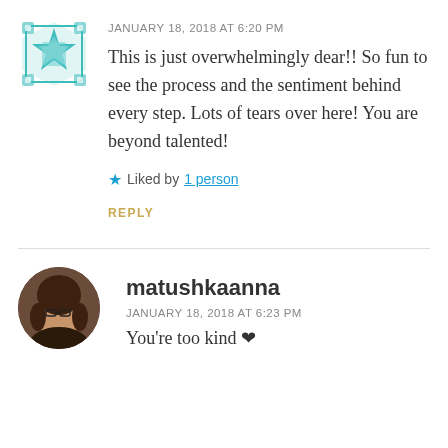[Figure (logo): Teal decorative avatar/logo with star/quilt pattern]
JANUARY 18, 2018 AT 6:20 PM
This is just overwhelmingly dear!! So fun to see the process and the sentiment behind every step. Lots of tears over here! You are beyond talented!
Liked by 1 person
REPLY
[Figure (photo): Circular profile photo of a woman with glasses and brown hair]
matushkaanna
JANUARY 18, 2018 AT 6:23 PM
You're too kind ❤